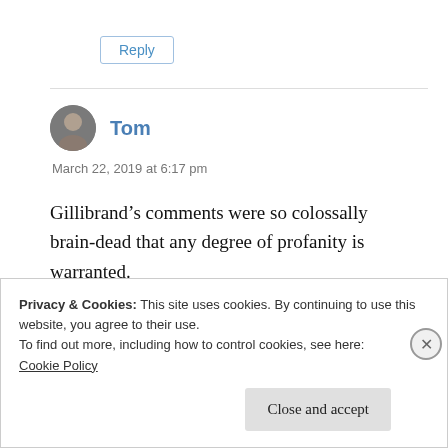Reply
Tom
March 22, 2019 at 6:17 pm
Gillibrand’s comments were so colossally brain-dead that any degree of profanity is warranted.
Privacy & Cookies: This site uses cookies. By continuing to use this website, you agree to their use.
To find out more, including how to control cookies, see here:
Cookie Policy
Close and accept